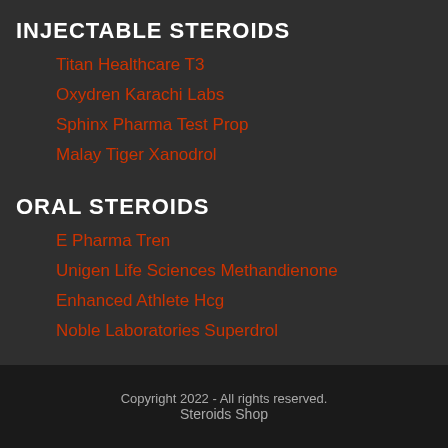INJECTABLE STEROIDS
Titan Healthcare T3
Oxydren Karachi Labs
Sphinx Pharma Test Prop
Malay Tiger Xanodrol
ORAL STEROIDS
E Pharma Tren
Unigen Life Sciences Methandienone
Enhanced Athlete Hcg
Noble Laboratories Superdrol
Copyright 2022 - All rights reserved.
Steroids Shop